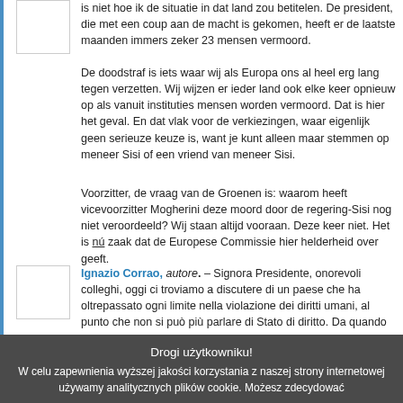is niet hoe ik de situatie in dat land zou betitelen. De president, die met een coup aan de macht is gekomen, heeft er de laatste maanden immers zeker 23 mensen vermoord.
De doodstraf is iets waar wij als Europa ons al heel erg lang tegen verzetten. Wij wijzen er ieder land ook elke keer opnieuw op als vanuit instituties mensen worden vermoord. Dat is hier het geval. En dat vlak voor de verkiezingen, waar eigenlijk geen serieuze keuze is, want je kunt alleen maar stemmen op meneer Sisi of een vriend van meneer Sisi.
Voorzitter, de vraag van de Groenen is: waarom heeft vicevoorzitter Mogherini deze moord door de regering-Sisi nog niet veroordeeld? Wij staan altijd vooraan. Deze keer niet. Het is nú zaak dat de Europese Commissie hier helderheid over geeft.
Ignazio Corrao, autore. – Signora Presidente, onorevoli colleghi, oggi ci troviamo a discutere di un paese che ha oltrepassato ogni limite nella violazione dei diritti umani, al punto che non si può più parlare di Stato di diritto. Da quando El-Sisi è al potere, il governo egiziano non solo ha ricominciato a comminare sentenze di morte, cosa che non accadeva più sotto i governi passati, ma anche ha iniziato ad esequirle.
Drogi użytkowniku!
W celu zapewnienia wyższej jakości korzystania z naszej strony internetowej używamy analitycznych plików cookie. Możesz zdecydować